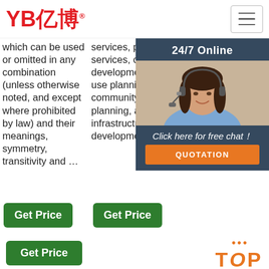YB亿博
which can be used or omitted in any combination (unless otherwise noted, and except where prohibited by law) and their meanings, symmetry, transitivity and …
services, protective services, community development, land-use planning, community planning, and infrastructure development.
made with polycrystalline cubic bor... inde... with pre... tool use fini... and bea... auto... disk... eng...
[Figure (screenshot): Chat widget overlay showing '24/7 Online' header, a female customer service representative with headset, 'Click here for free chat!' text, and an orange QUOTATION button]
Get Price
Get Price
Get Price
[Figure (logo): TOP badge with orange dots and text]
[Figure (photo): Dark textured image (left)]
[Figure (photo): Dark textured image (right)]